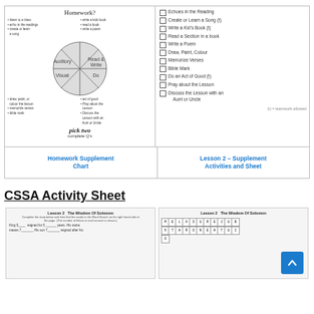[Figure (illustration): Homework supplement chart showing a circle divided into four quadrants: Auditory, Read & Write, Visual, Do. Surrounding bullet points list homework activities. Text at bottom says 'pick two complete Q's'.]
[Figure (illustration): Lesson 2 Supplement Activities checklist with checkboxes for: Echoes in the Reading, Create or Learn a Song (t), Write a Kid's Book (t), Read a Section in a book, Write a Poem, Draw, Paint, Colour, Memorize Verses, Bible Mark, Do an Act of Good (t), Pray about the Lesson, Discuss the Lesson with an Aunt or Uncle. Footnote: (t) = teamwork allowed.]
Homework Supplement Chart
Lesson 2 – Supplement Activities and Sheet
CSSA Activity Sheet
[Figure (illustration): Lesson 2 The Wisdom Of Solomon worksheet. Fill-in-the-blank story about King Solomon.]
[Figure (illustration): Lesson 2 The Wisdom Of Solomon word search grid with letters M, E, L, A, S, U, R, E, J, U, B, K and T, H, R, O, N, E, H, T, U, I, O visible.]